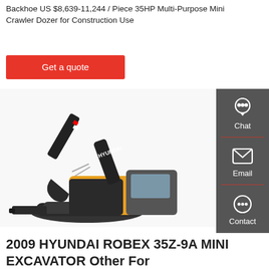Backhoe US $8,639-11,244 / Piece 35HP Multi-Purpose Mini Crawler Dozer for Construction Use
Get a quote
[Figure (photo): A Hyundai mini excavator / crawler with black and yellow color scheme, photographed on a white background.]
Chat
Email
Contact
2009 HYUNDAI ROBEX 35Z-9A MINI EXCAVATOR Other For